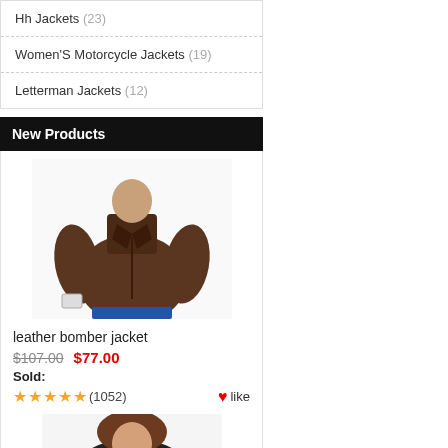Hh Jackets (23)
Women'S Motorcycle Jackets (19)
Letterman Jackets (12)
New Products
[Figure (photo): Man wearing a brown leather bomber jacket, torso and head visible]
leather bomber jacket
$107.00  $77.00
Sold:
★★★★★ (1052)  ♥like
[Figure (photo): Woman wearing a black jacket, partial view from below shoulders]